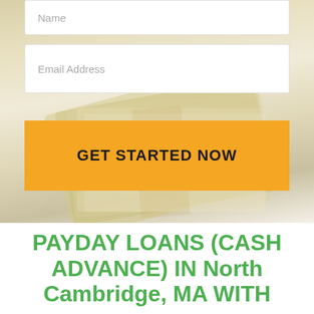Name
Email Address
GET STARTED NOW
[Figure (photo): Background photo of bundled US dollar bills fanned out on a white surface, shown with faded overlay]
PAYDAY LOANS (CASH ADVANCE) IN North Cambridge, MA WITH